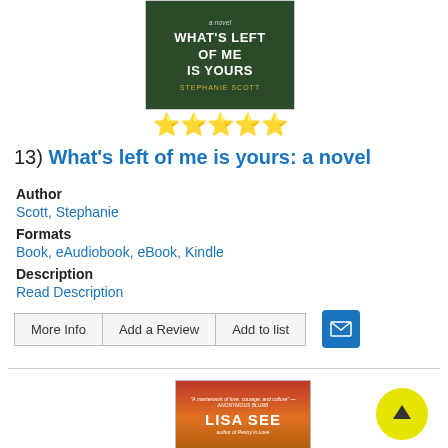[Figure (illustration): Book cover for 'What's Left of Me Is Yours' by Stephanie Scott, dark green background with floral elements, white bold title text, gold author name]
[Figure (illustration): Five yellow star rating icons]
13)  What's left of me is yours: a novel
Author
Scott, Stephanie
Formats
Book, eAudiobook, eBook, Kindle
Description
Read Description
More Info | Add a Review | Add to list
[Figure (illustration): Email envelope icon button in blue square]
[Figure (illustration): Book cover for Lisa See novel with red/orange sunset background and large white author name text]
[Figure (illustration): Yellow circular back-to-top arrow button]